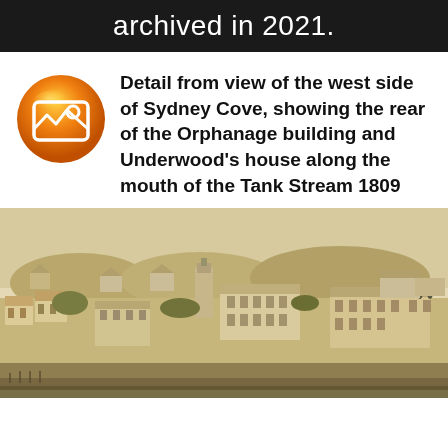archived in 2021.
Detail from view of the west side of Sydney Cove, showing the rear of the Orphanage building and Underwood's house along the mouth of the Tank Stream 1809
[Figure (illustration): Historical drawing/painting showing a panoramic view of Sydney Cove in 1809, with colonial buildings, houses on hills, and the Tank Stream mouth visible. Sepia/ochre tones on aged paper.]